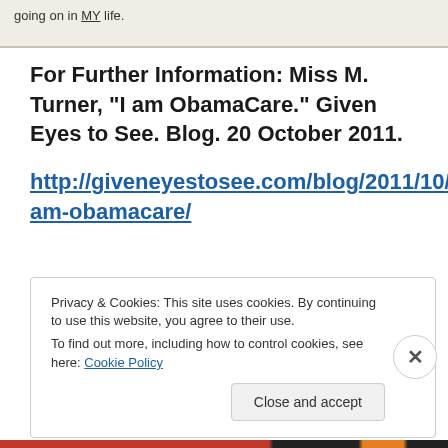going on in MY life.
For Further Information: Miss M. Turner, “I am ObamaCare.” Given Eyes to See. Blog. 20 October 2011.
http://giveneyestosee.com/blog/2011/10/i-am-obamacare/
Privacy & Cookies: This site uses cookies. By continuing to use this website, you agree to their use.
To find out more, including how to control cookies, see here: Cookie Policy
Close and accept